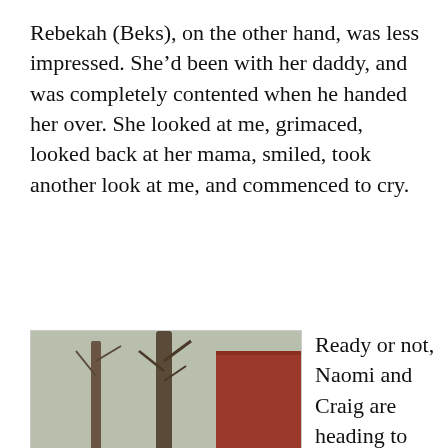Rebekah (Beks), on the other hand, was less impressed. She'd been with her daddy, and was completely contented when he handed her over. She looked at me, grimaced, looked back at her mama, smiled, took another look at me, and commenced to cry.
[Figure (photo): A man and a small child sitting on outdoor stone steps, with bare trees and a red building in the background. Winter or early spring setting.]
Ready or not, Naomi and Craig are heading to Italy tomorrow afternoon and it'll be all granddaddy Derek, all the